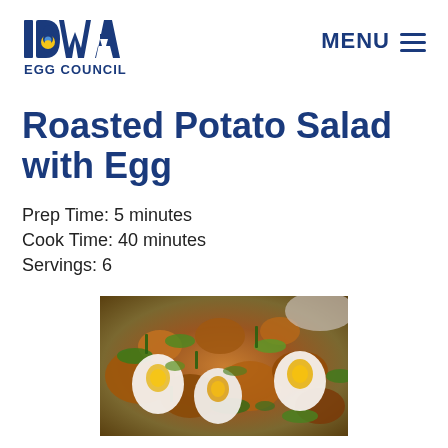[Figure (logo): Iowa Egg Council logo — blue IOWA text with wheat/egg emblem, yellow circle, EGG COUNCIL in blue text below]
MENU ≡
Roasted Potato Salad with Egg
Prep Time: 5 minutes
Cook Time: 40 minutes
Servings: 6
[Figure (photo): Close-up photo of roasted potato salad with halved soft-boiled eggs showing orange yolks, garnished with chopped green onions and arugula on a serving dish]